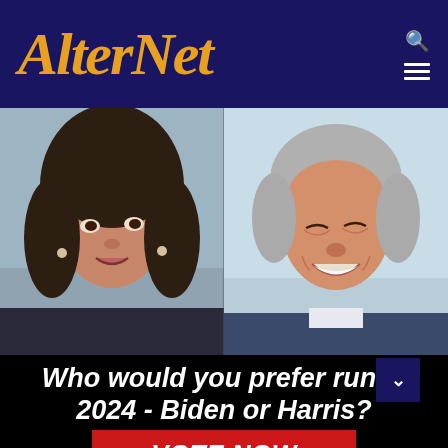AlterNet
[Figure (photo): Split photo showing Kamala Harris on the left (smiling, dark hair, pearl earring) and Joe Biden on the right (smiling broadly, grey hair, blue suit) against light backgrounds]
Who would you prefer run ... 2024 - Biden or Harris?
VOTE NOW